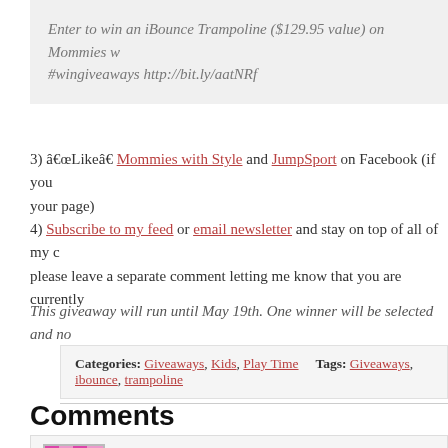Enter to win an iBounce Trampoline ($129.95 value) on Mommies w... #wingiveaways http://bit.ly/aatNRf
3) “Like” Mommies with Style and JumpSport on Facebook (if you... your page)
4) Subscribe to my feed or email newsletter and stay on top of all of my c... please leave a separate comment letting me know that you are currently...
This giveaway will run until May 19th. One winner will be selected and no...
Categories: Giveaways, Kids, Play Time    Tags: Giveaways, ibounce, trampoline
Comments
Laura V. says
May 17, 2012 at 6:13 pm